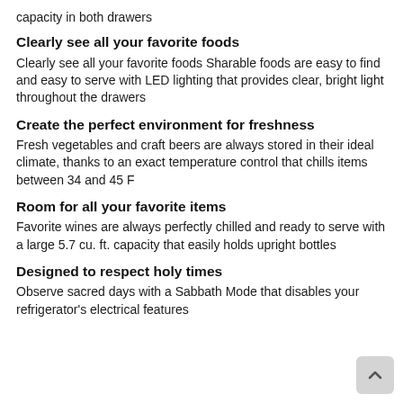capacity in both drawers
Clearly see all your favorite foods
Clearly see all your favorite foods Sharable foods are easy to find and easy to serve with LED lighting that provides clear, bright light throughout the drawers
Create the perfect environment for freshness
Fresh vegetables and craft beers are always stored in their ideal climate, thanks to an exact temperature control that chills items between 34 and 45 F
Room for all your favorite items
Favorite wines are always perfectly chilled and ready to serve with a large 5.7 cu. ft. capacity that easily holds upright bottles
Designed to respect holy times
Observe sacred days with a Sabbath Mode that disables your refrigerator's electrical features